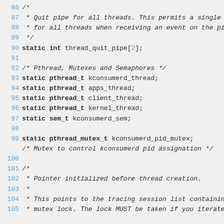Source code listing lines 86-105 showing C code with thread_quit_pipe, pthread declarations, sem_t, pthread_mutex_t, and comments about Pthread, Mutexes, Semaphores, and tracing session list.